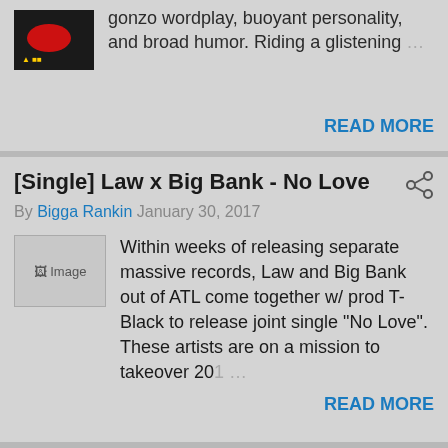gonzo wordplay, buoyant personality, and broad humor. Riding a glistening …
READ MORE
[Single] Law x Big Bank - No Love
By Bigga Rankin January 30, 2017
Within weeks of releasing separate massive records, Law and Big Bank out of ATL come together w/ prod T-Black to release joint single "No Love". These artists are on a mission to takeover 201 …
READ MORE